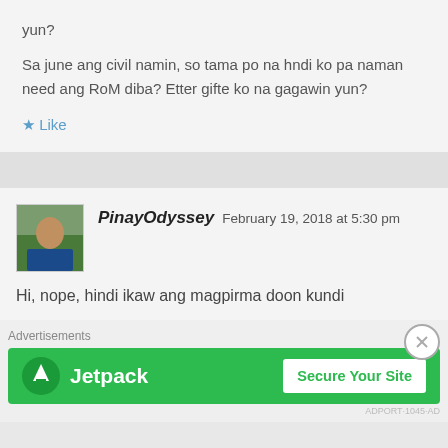yun?
Sa june ang civil namin, so tama po na hndi ko pa naman need ang RoM diba? Etter gifte ko na gagawin yun?
★ Like
PinayOdyssey  February 19, 2018 at 5:30 pm
Hi, nope, hindi ikaw ang magpirma doon kundi
[Figure (screenshot): Jetpack advertisement banner with green background showing Jetpack logo and 'Secure Your Site' button]
Advertisements